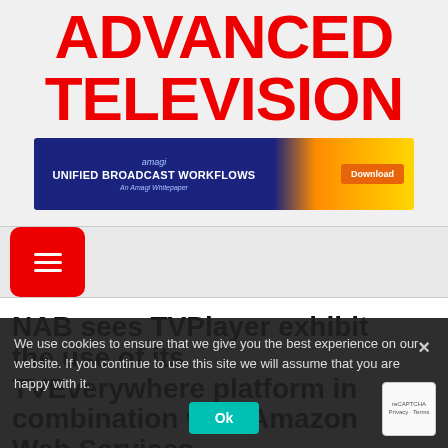ADVANCED TELEVISION
[Figure (infographic): Amagi ad banner: UNIFIED BROADCAST WORKFLOWS - An Amagi Whitepaper, with Download button]
[Figure (other): Hamburger menu button (red rounded rectangle with three white lines)]
NAB sees TVPlayer exhibit the use of its TVEverywhere platform in combination with Amazon Web Services
We use cookies to ensure that we give you the best experience on our website. If you continue to use this site we will assume that you are happy with it.